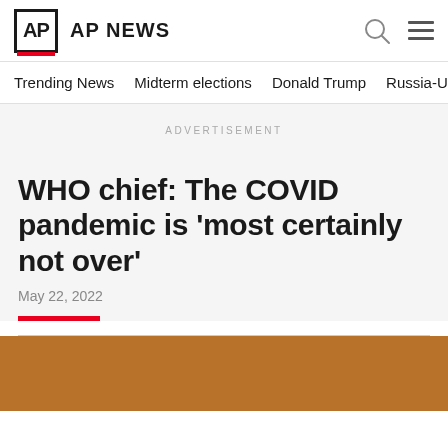AP AP NEWS
Trending News
Midterm elections
Donald Trump
Russia-Ukr
ADVERTISEMENT
WHO chief: The COVID pandemic is 'most certainly not over'
May 22, 2022
[Figure (photo): Brown/orange colored photo at the bottom of the page, partially visible]